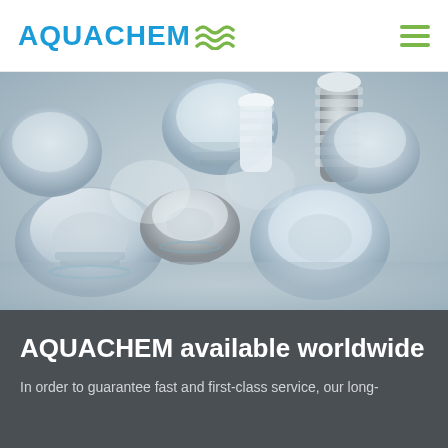AQUACHEM ≈
[Figure (photo): Close-up photo of multiple translucent plastic and metal threaded fittings/caps jumbled together, in white, grey and silver tones.]
AQUACHEM available worldwide
In order to guarantee fast and first-class service, our long-